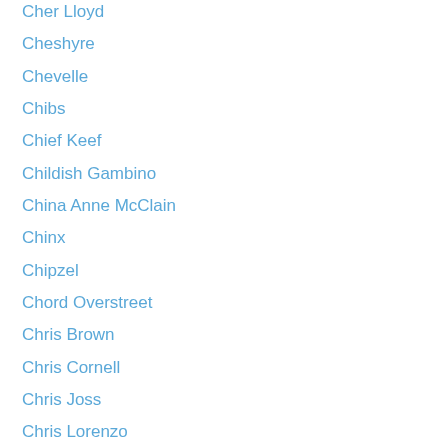Cher Lloyd
Cheshyre
Chevelle
Chibs
Chief Keef
Childish Gambino
China Anne McClain
Chinx
Chipzel
Chord Overstreet
Chris Brown
Chris Cornell
Chris Joss
Chris Lorenzo
Christina Aguilera
Christina Grimmie
Chromeo
Chrono Trigger
Chvrches